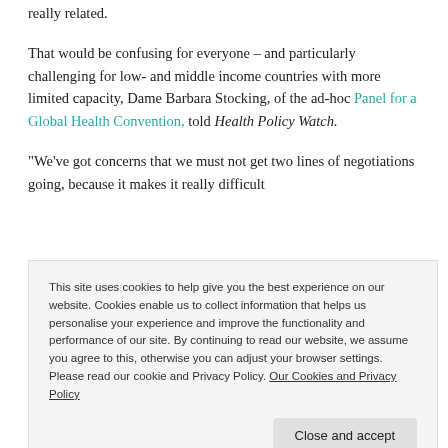really related.
That would be confusing for everyone – and particularly challenging for low- and middle income countries with more limited capacity, Dame Barbara Stocking, of the ad-hoc Panel for a Global Health Convention, told Health Policy Watch.
"We've got concerns that we must not get two lines of negotiations going, because it makes it really difficult
This site uses cookies to help give you the best experience on our website. Cookies enable us to collect information that helps us personalise your experience and improve the functionality and performance of our site. By continuing to read our website, we assume you agree to this, otherwise you can adjust your browser settings. Please read our cookie and Privacy Policy. Our Cookies and Privacy Policy
Close and accept